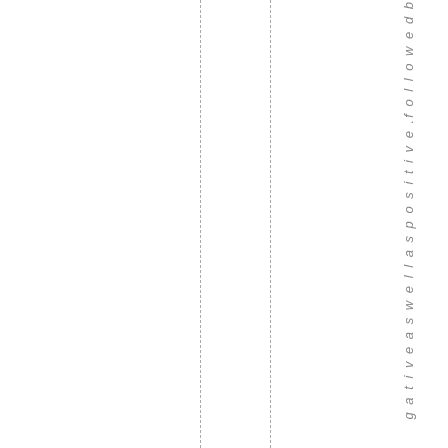gative as well as positive .followed b